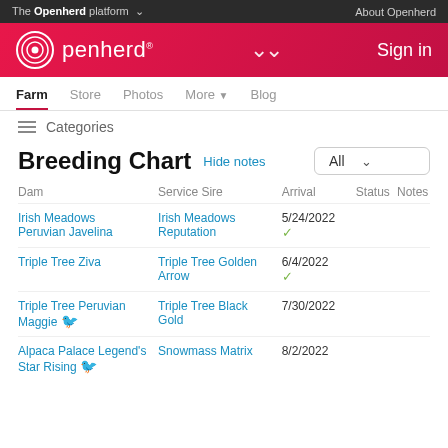The Openherd platform   About Openherd
[Figure (logo): Openherd logo with circular target icon and white text on red/pink gradient background, with Sign in link]
Farm  Store  Photos  More  Blog
Categories
Breeding Chart
Hide notes
| Dam | Service Sire | Arrival | Status | Notes |
| --- | --- | --- | --- | --- |
| Irish Meadows Peruvian Javelina | Irish Meadows Reputation | 5/24/2022 ✓ |  |  |
| Triple Tree Ziva | Triple Tree Golden Arrow | 6/4/2022 ✓ |  |  |
| Triple Tree Peruvian Maggie 🐦 | Triple Tree Black Gold | 7/30/2022 |  |  |
| Alpaca Palace Legend's Star Rising 🐦 | Snowmass Matrix | 8/2/2022 |  |  |